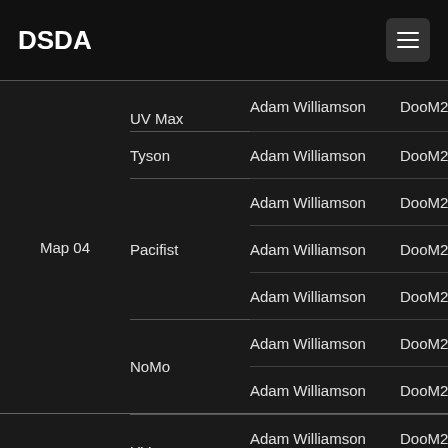DSDA
| Map | Category | Player | Port |
| --- | --- | --- | --- |
| Map 04 | UV Max | Adam Williamson | DooM2 |
| Map 04 | Tyson | Adam Williamson | DooM2 |
| Map 04 | Pacifist | Adam Williamson | DooM2 |
| Map 04 | Pacifist | Adam Williamson | DooM2 |
| Map 04 | Pacifist | Adam Williamson | DooM2 |
| Map 04 | NoMo | Adam Williamson | DooM2 |
| Map 04 | NoMo | Adam Williamson | DooM2 |
| Map 05 | UV Speed | Adam Williamson | DooM2 |
| Map 05 | UV Speed | Adam Williamson | DooM2 |
| Map 05 | NoMo | Adam Williamson | DooM2 |